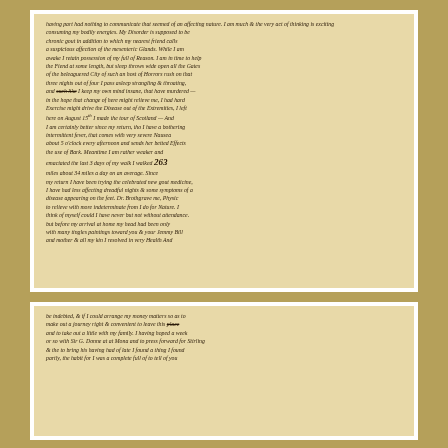[Figure (photo): Two fragments of a handwritten manuscript letter on aged yellowed paper, shown against a gold/tan textured background. The handwriting is cursive in dark brown ink. The upper fragment is larger and shows multiple lines of text. The lower fragment shows additional lines of the same letter.]
having part had nothing to communicate that seemed of an affecting nature. I am much & the very act of thinking is exciting consuming my bodily energies. My Disorder is supposed to be chronic gout in addition to which my nearest friend calls a suspicious affection of the mesenteric Glands. While I am awake I retain possession of my full of Reason. I am in time to help the Fiend at some length, but sleep throws wide open all the Gates of the beleaguered City of such an host of Horrors rush on that three nights out of four I pass asleep strangling & throating and such like. I keep my own mind insane, that have murdered — In the hope that change of here might relieve me, I had hard Exercise might drive the Disease out of the Extremities, I left here on August 15th I made the tour of Scotland — And I am certainly better since my return, tho I have a bothering intermittent fever, that comes with very severe Nausea about 5 o'clock every afternoon and Sends her betted Effects the use of Bark. Meantime I am rather weaker and emaciated the last 3 days of my walk I walked 263 miles about 34 miles a day on an average. Since my return I have been trying the celebrated new gout medicine, I have had less affecting dreadful nights & some symptoms of a disease appearing on the feet. Dr. Brothgrave me, Physic to relieve with more indeterminate from I do for Nature I think if myself could I have never but not without attendance but before my arrival at home my head had been only with many tingles paintings toward you & your Jemmy Bill and mother & all my kin I resolved in very Health And
be indebted, & if I could arrange my money matters so as to make out a journey right & convenient to leave this place and to take out a little with my family. I having hoped a week or so with Sir G. Donne at at Mona and to press forward for Stirling to bring his having had of late I found a thing I found partly, the habit for I was a complete full of to tell of you